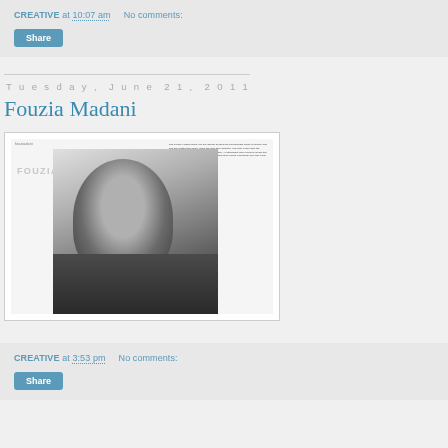CREATIVE at 10:07 am   No comments:
Share
Tuesday, June 21, 2011
Fouzia Madani
[Figure (photo): Magazine spread featuring Fouzia Madani, a black and white photo of a person in profile view with shaved head and dark jacket, with 'FOUZIA MADANI' text overlay]
CREATIVE at 3:53 pm   No comments:
Share